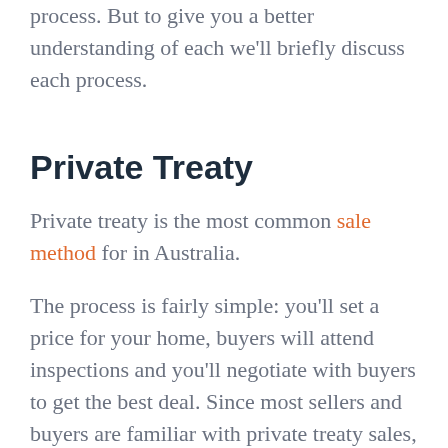process. But to give you a better understanding of each we'll briefly discuss each process.
Private Treaty
Private treaty is the most common sale method for in Australia.
The process is fairly simple: you'll set a price for your home, buyers will attend inspections and you'll negotiate with buyers to get the best deal. Since most sellers and buyers are familiar with private treaty sales, you'll get